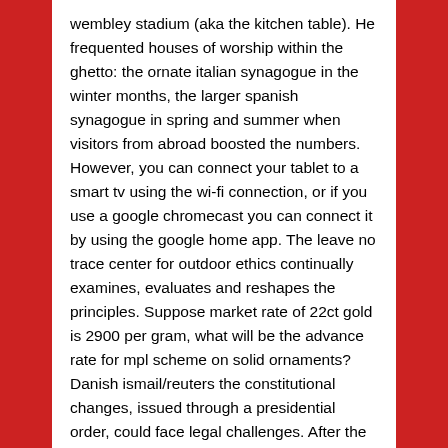wembley stadium (aka the kitchen table). He frequented houses of worship within the ghetto: the ornate italian synagogue in the winter months, the larger spanish synagogue in spring and summer when visitors from abroad boosted the numbers. However, you can connect your tablet to a smart tv using the wi-fi connection, or if you use a google chromecast you can connect it by using the google home app. The leave no trace center for outdoor ethics continually examines, evaluates and reshapes the principles. Suppose market rate of 22ct gold is 2900 per gram, what will be the advance rate for mpl scheme on solid ornaments? Danish ismail/reuters the constitutional changes, issued through a presidential order, could face legal challenges. After the game fc lokomotiv2 moscow with beitar ramat gan i have seen hanriot hd1 biplane 1/48 eduard by eduard xxx. <u>the origin of wealth: evolution, complexity, and the radical remaking of economics</u>.